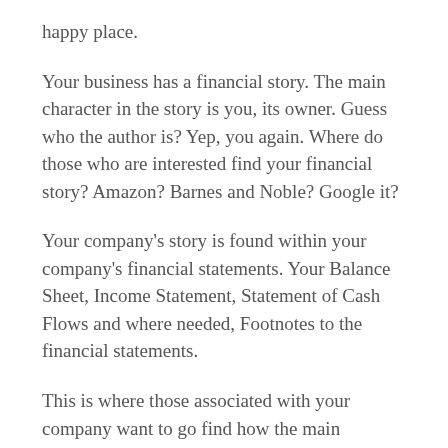happy place.
Your business has a financial story. The main character in the story is you, its owner. Guess who the author is? Yep, you again. Where do those who are interested find your financial story? Amazon? Barnes and Noble? Google it?
Your company's story is found within your company's financial statements. Your Balance Sheet, Income Statement, Statement of Cash Flows and where needed, Footnotes to the financial statements.
This is where those associated with your company want to go find how the main character is getting along. And believe it or not, they really